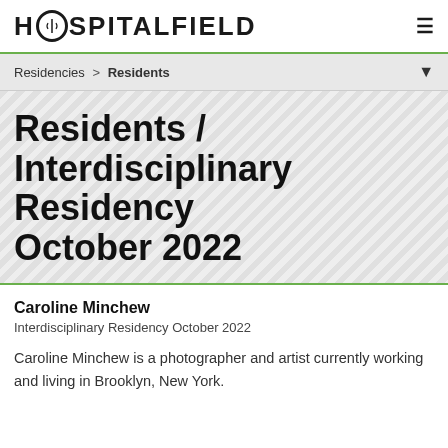HOSPITALFIELD
Residencies > Residents
Residents / Interdisciplinary Residency October 2022
Caroline Minchew
Interdisciplinary Residency October 2022
Caroline Minchew is a photographer and artist currently working and living in Brooklyn, New York.